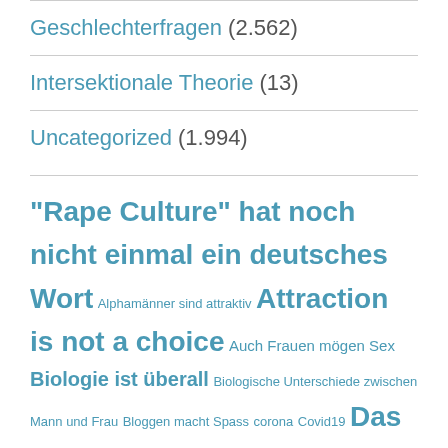Geschlechterfragen (2.562)
Intersektionale Theorie (13)
Uncategorized (1.994)
"Rape Culture" hat noch nicht einmal ein deutsches Wort Alphamänner sind attraktiv Attraction is not a choice Auch Frauen mögen Sex Biologie ist überall Biologische Unterschiede zwischen Mann und Frau Bloggen macht Spass corona Covid19 Das Baby ist kein Feminist Das Familienrecht und die daraus folgenden Transferleistungen des Mannes werdend im Feminismus gerne übersehen Das Gehirn ist Das Patriarchat ist eine